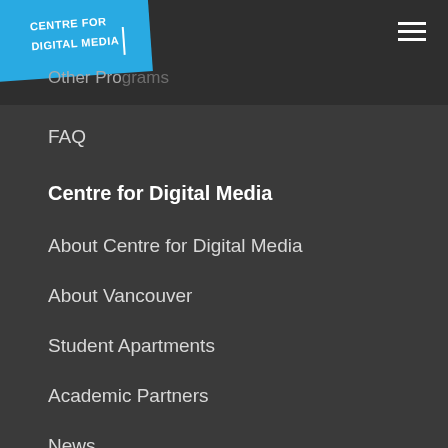Centre for Digital Media
Other Programs
FAQ
Centre for Digital Media
About Centre for Digital Media
About Vancouver
Student Apartments
Academic Partners
News
Upcoming Events
Faculty